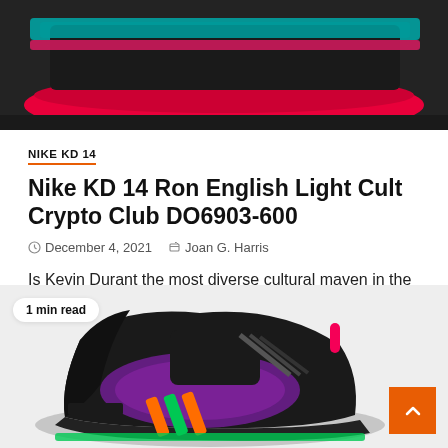[Figure (photo): Top portion of a brightly colored Nike KD 14 sneaker (pink/red/teal sole) on dark background, cropped to show bottom of shoe]
NIKE KD 14
Nike KD 14 Ron English Light Cult Crypto Club DO6903-600
December 4, 2021   Joan G. Harris
Is Kevin Durant the most diverse cultural maven in the NBA? The Brooklyn Nets star has explored a sea of...
[Figure (photo): Black colorful sneaker (adidas Harden style) with purple, orange, green accents on light gray background, with '1 min read' badge and orange scroll-to-top button]